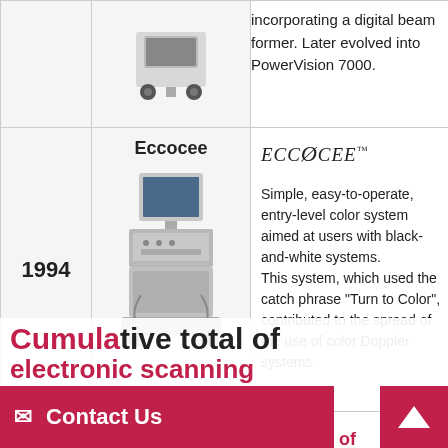| Year | Model | Description |
| --- | --- | --- |
|  |  | incorporating a digital beam former. Later evolved into PowerVision 7000. |
| 1994 | Eccocee | ECCOCEE™
Simple, easy-to-operate, entry-level color system aimed at users with black-and-white systems.
This system, which used the catch phrase "Turn to Color", contributed to the spread of the use of color Doppler systems. |
| 1996 | Cumula... | ...tive total of electronic scanning |
[Figure (photo): Eccocee ultrasound machine on wheels with monitor]
[Figure (photo): Previous product ultrasound machine (partial, top of page)]
Cumulative total of electronic scanning
Contact Us